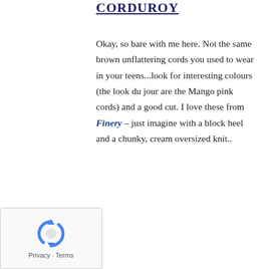CORDUROY
Okay, so bare with me here. Not the same brown unflattering cords you used to wear in your teens...look for interesting colours (the look du jour are the Mango pink cords) and a good cut. I love these from Finery – just imagine with a block heel and a chunky, cream oversized knit..
[Figure (logo): reCAPTCHA logo with circular arrows icon, and 'Privacy · Terms' text below]